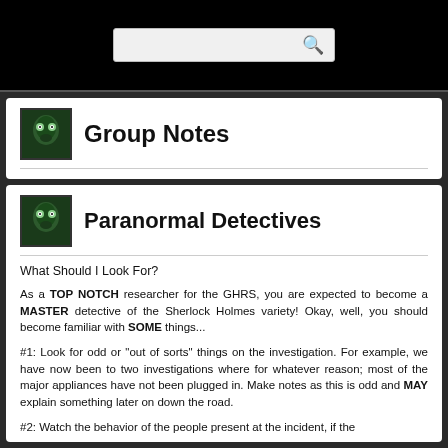Search bar area
Group Notes
Paranormal Detectives
What Should I Look For?
As a TOP NOTCH researcher for the GHRS, you are expected to become a MASTER detective of the Sherlock Holmes variety! Okay, well, you should become familiar with SOME things...
#1: Look for odd or "out of sorts" things on the investigation. For example, we have now been to two investigations where for whatever reason; most of the major appliances have not been plugged in. Make notes as this is odd and MAY explain something later on down the road.
#2: Watch the behavior of the people present at the incident, if the...